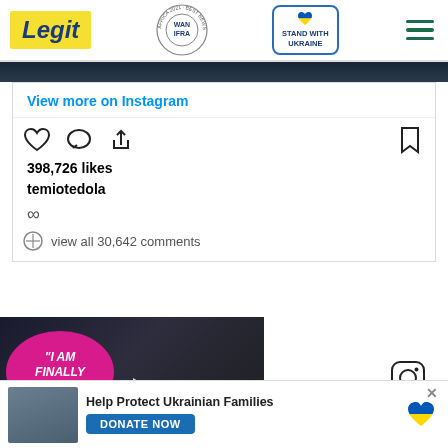[Figure (screenshot): Legit.ng website header with logo, WAN-IFRA 2021 Best News Website in Africa badge, Stand With Ukraine button, and hamburger menu]
[Figure (screenshot): Instagram embed showing 'View more on Instagram' link, like/comment/share icons, 398,726 likes, username temiotedola, infinity emoji, view all 30,642 comments]
[Figure (screenshot): Video thumbnail overlay showing couple with 'I AM FINALLY LOVED' text in pink heart shape, play button, red close button]
[Figure (screenshot): Bottom banner: Help Protect Ukrainian Families with DONATE NOW button and Ukraine heart flag icon]